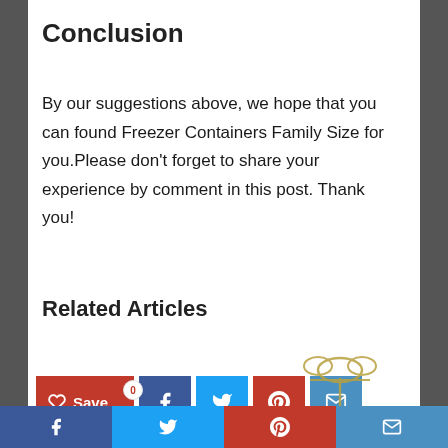Conclusion
By our suggestions above, we hope that you can found Freezer Containers Family Size for you.Please don't forget to share your experience by comment in this post. Thank you!
[Figure (infographic): Social sharing buttons: Save (heart icon, red), Facebook (blue), Twitter (light blue), Pinterest (red), Email (blue)]
Related Articles
[Figure (infographic): Partial gift image visible at bottom of page]
Bottom social sharing bar: Facebook, Twitter, Pinterest, Email